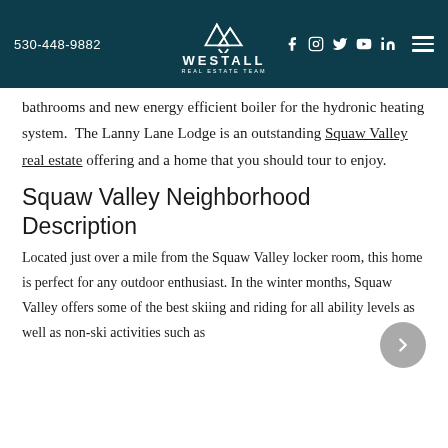530-448-9882 | WESTALL REAL ESTATE TEAM
bathrooms and new energy efficient boiler for the hydronic heating system.  The Lanny Lane Lodge is an outstanding Squaw Valley real estate offering and a home that you should tour to enjoy.
Squaw Valley Neighborhood Description
Located just over a mile from the Squaw Valley locker room, this home is perfect for any outdoor enthusiast. In the winter months, Squaw Valley offers some of the best skiing and riding for all ability levels as well as non-ski activities such as